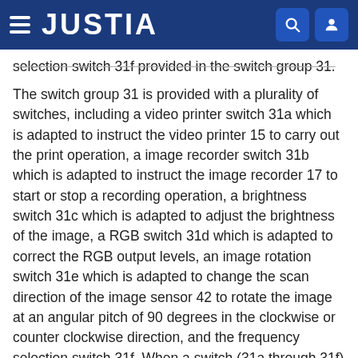JUSTIA
selection switch 31f provided in the switch group 31.
The switch group 31 is provided with a plurality of switches, including a video printer switch 31a which is adapted to instruct the video printer 15 to carry out the print operation, a image recorder switch 31b which is adapted to instruct the image recorder 17 to start or stop a recording operation, a brightness switch 31c which is adapted to adjust the brightness of the image, a RGB switch 31d which is adapted to correct the RGB output levels, an image rotation switch 31e which is adapted to change the scan direction of the image sensor 42 to rotate the image at an angular pitch of 90 degrees in the clockwise or counter clockwise direction, and the frequency selection switch 31f. When a switch (31a through 31f) of the switch group 31 is depressed, the signal corresponding to the depressed switch is sent to the microcomputer 60.